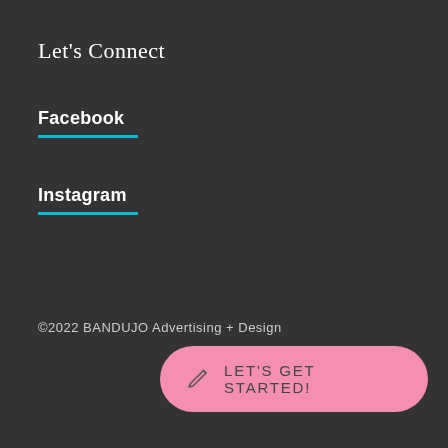Let's Connect
Facebook
Instagram
©2022 BANDUJO Advertising + Design
[Figure (other): Pink rounded button with pencil icon and text LET'S GET STARTED!]